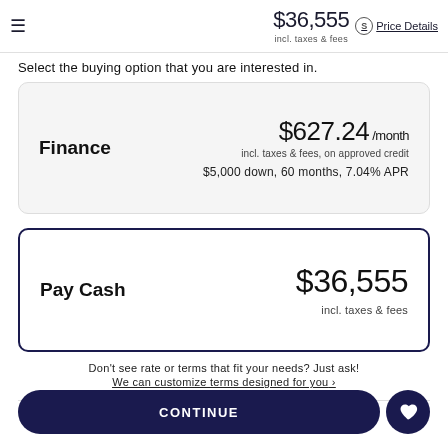$36,555 incl. taxes & fees | Price Details
Select the buying option that you are interested in.
Finance | $627.24/month | incl. taxes & fees, on approved credit | $5,000 down, 60 months, 7.04% APR
Pay Cash | $36,555 | incl. taxes & fees
Don't see rate or terms that fit your needs? Just ask! We can customize terms designed for you ›
CONTINUE